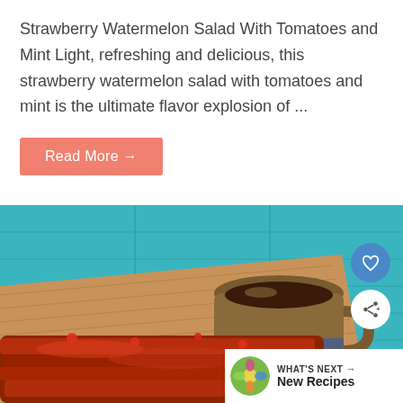Strawberry Watermelon Salad With Tomatoes and Mint Light, refreshing and delicious, this strawberry watermelon salad with tomatoes and mint is the ultimate flavor explosion of ...
Read More →
[Figure (photo): Food photo showing BBQ ribs on a wooden cutting board with a mug of dark sauce, teal/turquoise wooden background. Social share and heart buttons overlaid. 'What's Next → New Recipes' banner in bottom right corner.]